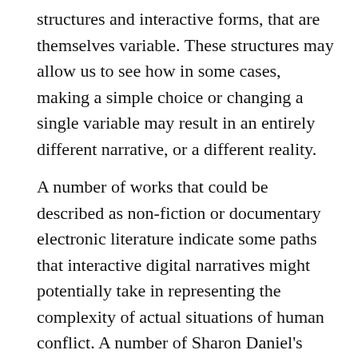structures and interactive forms, that are themselves variable. These structures may allow us to see how in some cases, making a simple choice or changing a single variable may result in an entirely different narrative, or a different reality.
A number of works that could be described as non-fiction or documentary electronic literature indicate some paths that interactive digital narratives might potentially take in representing the complexity of actual situations of human conflict. A number of Sharon Daniel's works, such as Public Secrets (2008) and Inside the Distance (2015) have employed hypertext and hypermedia, digital cinema, and